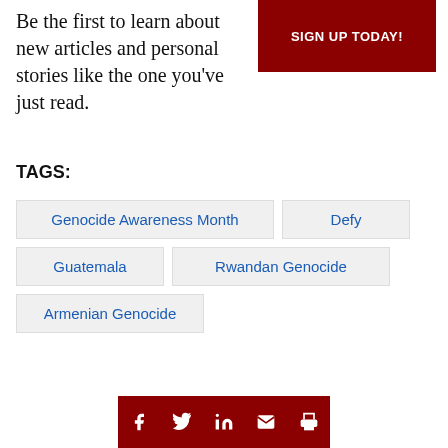Be the first to learn about new articles and personal stories like the one you've just read.
SIGN UP TODAY!
TAGS:
Genocide Awareness Month
Defy
Guatemala
Rwandan Genocide
Armenian Genocide
[Figure (infographic): Social sharing icons row: Facebook, Twitter, LinkedIn, Email, Print on dark red background]